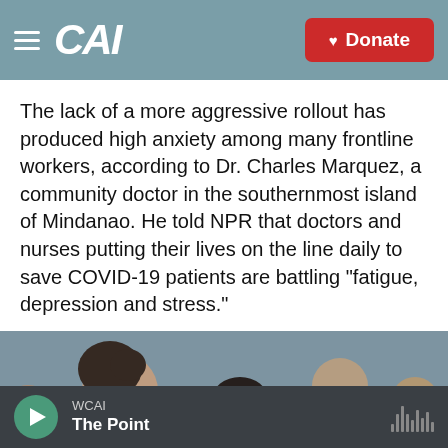CAI | Donate
The lack of a more aggressive rollout has produced high anxiety among many frontline workers, according to Dr. Charles Marquez, a community doctor in the southernmost island of Mindanao. He told NPR that doctors and nurses putting their lives on the line daily to save COVID-19 patients are battling "fatigue, depression and stress."
[Figure (photo): Healthcare workers wearing masks and face shields, appearing fatigued, some looking down]
WCAI | The Point